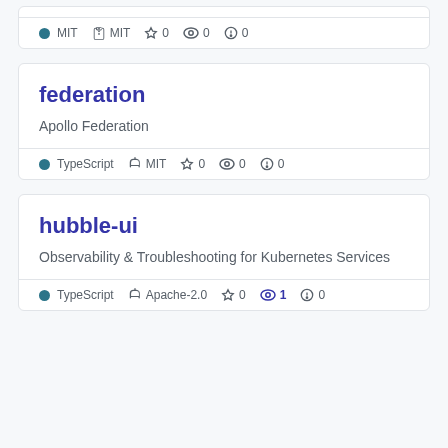MIT  0  0  0
federation
Apollo Federation
TypeScript  MIT  0  0  0
hubble-ui
Observability & Troubleshooting for Kubernetes Services
TypeScript  Apache-2.0  0  1  0